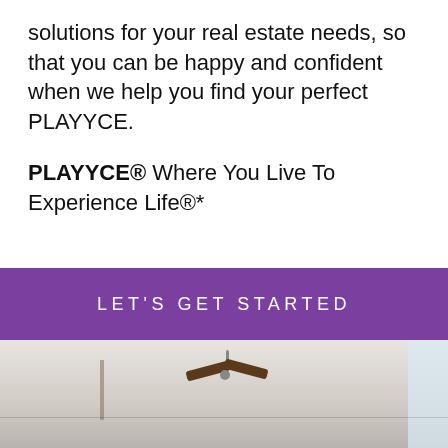solutions for your real estate needs, so that you can be happy and confident when we help you find your perfect PLAYYCE.
PLAYYCE® Where You Live To Experience Life®*
LET'S GET STARTED
[Figure (photo): Interior room photo showing ceiling with a ceiling fan and a window on the right side]